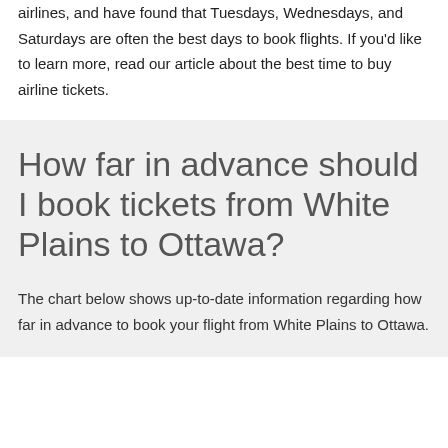airlines, and have found that Tuesdays, Wednesdays, and Saturdays are often the best days to book flights. If you'd like to learn more, read our article about the best time to buy airline tickets.
How far in advance should I book tickets from White Plains to Ottawa?
The chart below shows up-to-date information regarding how far in advance to book your flight from White Plains to Ottawa.